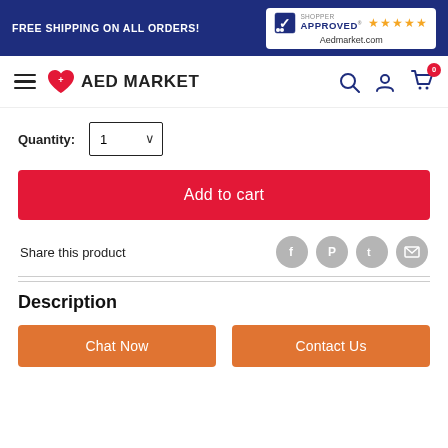FREE SHIPPING ON ALL ORDERS! | Shopper Approved ★★★★★ Aedmarket.com
[Figure (logo): AED Market logo with hamburger menu, heart icon, search, account, and cart icons]
Quantity: 1
Add to cart
Share this product
Description
Chat Now
Contact Us